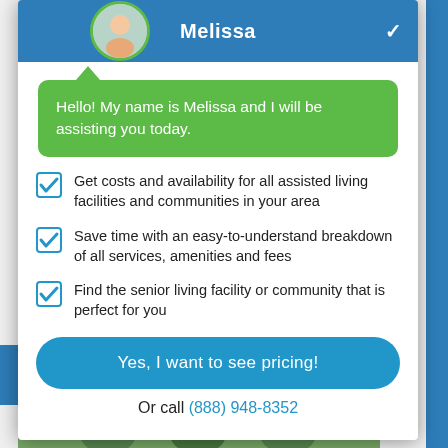Melissa
Hello! My name is Melissa and I will be assisting you today.
Get costs and availability for all assisted living facilities and communities in your area
Save time with an easy-to-understand breakdown of all services, amenities and fees
Find the senior living facility or community that is perfect for you
Yes, I want to see pricing!
Or call (888) 948-8352